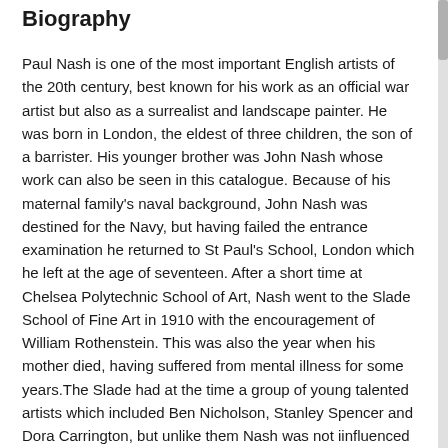Biography
Paul Nash is one of the most important English artists of the 20th century, best known for his work as an official war artist but also as a surrealist and landscape painter. He was born in London, the eldest of three children, the son of a barrister. His younger brother was John Nash whose work can also be seen in this catalogue. Because of his maternal family's naval background, John Nash was destined for the Navy, but having failed the entrance examination he returned to St Paul's School, London which he left at the age of seventeen. After a short time at Chelsea Polytechnic School of Art, Nash went to the Slade School of Fine Art in 1910 with the encouragement of William Rothenstein. This was also the year when his mother died, having suffered from mental illness for some years.The Slade had at the time a group of young talented artists which included Ben Nicholson, Stanley Spencer and Dora Carrington, but unlike them Nash was not iinfluenced by the Post-Impressionists. Instead he concentrated in what he was good at: the depiction of nature. As a child Paul's family had moved to the country in Buckinghamshire and tall elm